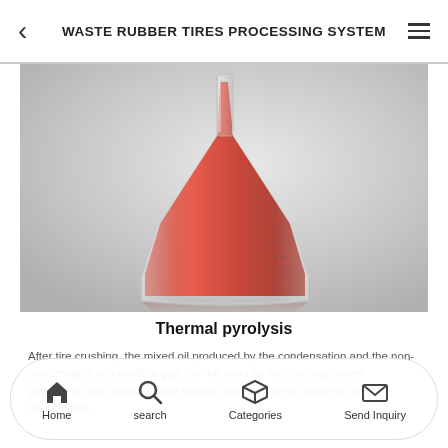WASTE RUBBER TIRES PROCESSING SYSTEM
[Figure (photo): Erlenmeyer flask filled with red/orange liquid, placed on a gradient gray background with its reflection visible at the base.]
Thermal pyrolysis
After tire crushing, the mixed oil produced by the condensation and the non-condensable combustible gas, can be used for fuel-burning power generation, the separated tire carbon black can be for commercial applications.